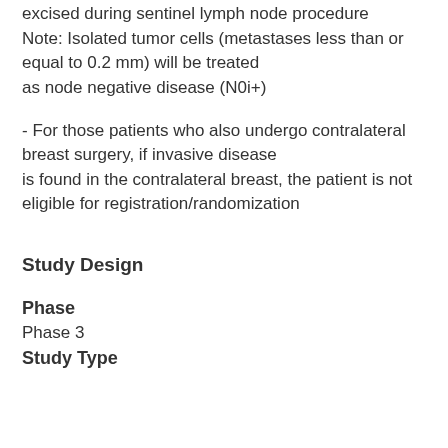excised during sentinel lymph node procedure
Note: Isolated tumor cells (metastases less than or equal to 0.2 mm) will be treated
as node negative disease (N0i+)
- For those patients who also undergo contralateral breast surgery, if invasive disease
is found in the contralateral breast, the patient is not eligible for registration/randomization
Study Design
Phase
Phase 3
Study Type